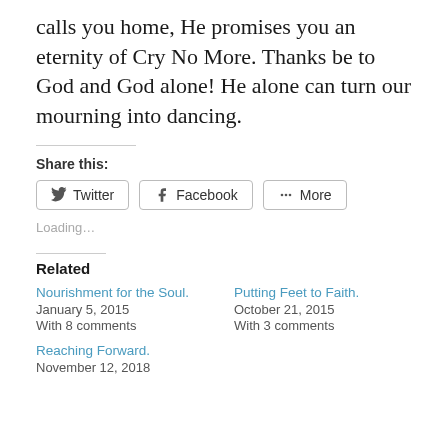calls you home, He promises you an eternity of Cry No More. Thanks be to God and God alone! He alone can turn our mourning into dancing.
Share this:
Twitter  Facebook  More
Loading...
Related
Nourishment for the Soul.
January 5, 2015
With 8 comments
Putting Feet to Faith.
October 21, 2015
With 3 comments
Reaching Forward.
November 12, 2018